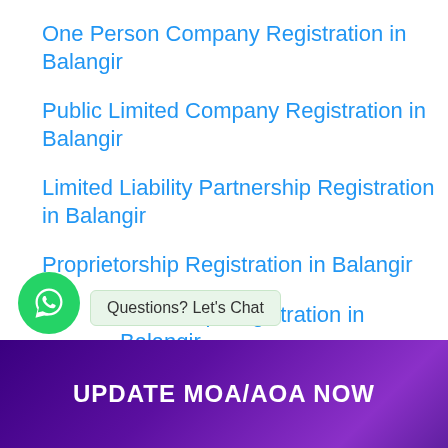One Person Company Registration in Balangir
Public Limited Company Registration in Balangir
Limited Liability Partnership Registration in Balangir
Proprietorship Registration in Balangir
Partnership Registration in Balangir
Questions? Let's Chat
UPDATE MOA/AOA NOW